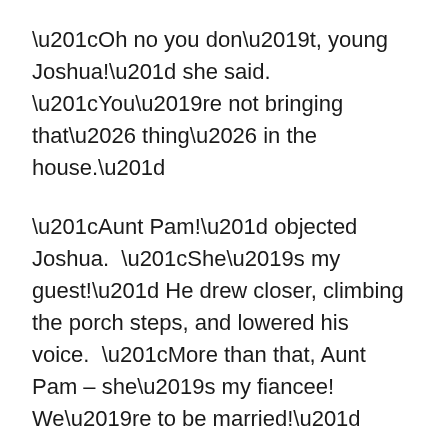“Oh no you don’t, young Joshua!” she said. “You’re not bringing that… thing… in the house.”
“Aunt Pam!” objected Joshua.  “She’s my guest!” He drew closer, climbing the porch steps, and lowered his voice.  “More than that, Aunt Pam – she’s my fiancee!  We’re to be married!”
Joshua’s aunt widened her eyes.  “Married?  You can’t marry an animal, Joshua!”
“Aunt Pam,” chided Joshua.  “She’s just a regular woman, led astray by her cunt and her udders.  I plan to make an obedient wife out of her.  And I’d